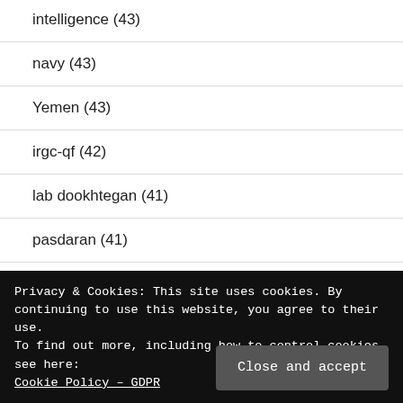intelligence (43)
navy (43)
Yemen (43)
irgc-qf (42)
lab dookhtegan (41)
pasdaran (41)
Privacy & Cookies: This site uses cookies. By continuing to use this website, you agree to their use.
To find out more, including how to control cookies, see here:
Cookie Policy – GDPR
UAE (39)